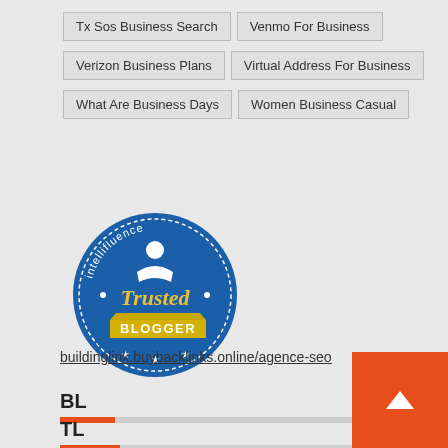Tx Sos Business Search
Venmo For Business
Verizon Business Plans
Virtual Address For Business
What Are Business Days
Women Business Casual
[Figure (logo): Intellifluence Trusted Blogger badge - circular blue badge with ribbon banner reading BLOGGER in yellow]
buildinglink.buybacklinks.online/agence-seo
BL
TL